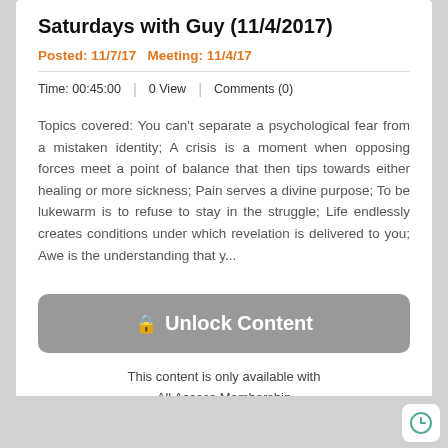Saturdays with Guy (11/4/2017)
Posted: 11/7/17 Meeting: 11/4/17
Time: 00:45:00  |  0 View  |  Comments (0)
Topics covered: You can't separate a psychological fear from a mistaken identity; A crisis is a moment when opposing forces meet a point of balance that then tips towards either healing or more sickness; Pain serves a divine purpose; To be lukewarm is to refuse to stay in the struggle; Life endlessly creates conditions under which revelation is delivered to you; Awe is the understanding that y...
🔒 Unlock Content
This content is only available with All Access Membership
ADD TO FAVORITES